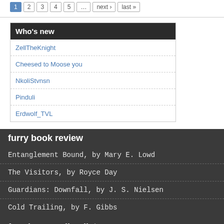1 2 3 4 5 … next › last »
Who's new
ZellTheKnight
Cheesed to Moose you
NkoliStvnsn
Pinduli
Erdwolf_TVL
furry book review
Entanglement Bound, by Mary E. Lowd
The Visitors, by Royce Day
Guardians: Downfall, by J. S. Nielsen
Cold Trailing, by F. Gibbs
fursday - reading list
FurAffinity bought out by 3D chat space IMVU
Croc O'Dile's open letter to the media